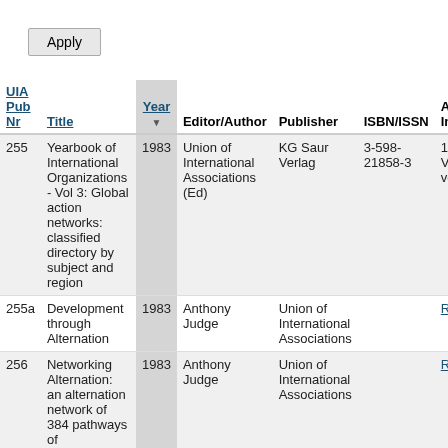Apply
| UIA Pub Nr | Title | Year | Editor/Author | Publisher | ISBN/ISSN | A... In... |
| --- | --- | --- | --- | --- | --- | --- |
| 255 | Yearbook of International Organizations - Vol 3: Global action networks: classified directory by subject and region | 1983 | Union of International Associations (Ed) | KG Saur Verlag | 3-598-21858-3 | 1s... Vo... vo... |
| 255a | Development through Alternation | 1983 | Anthony Judge | Union of International Associations |  | Re... |
| 256 | Networking Alternation: an alternation network of 384 pathways of organizational transformation | 1983 | Anthony Judge | Union of International Associations |  | Re... |